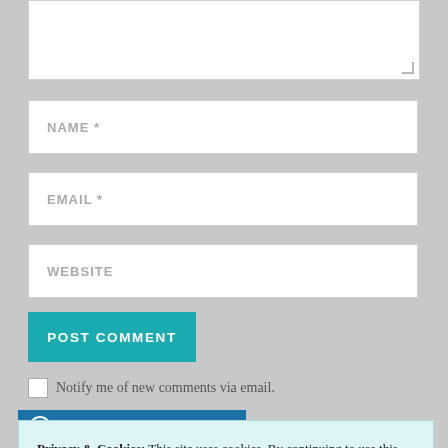NAME *
EMAIL *
WEBSITE
POST COMMENT
Notify me of new comments via email.
Privacy & Cookies: This site uses cookies. By continuing to use this website, you agree to their use.
To find out more, including how to control cookies, see here: Cookie Policy
Close and accept
Freshly Pressed